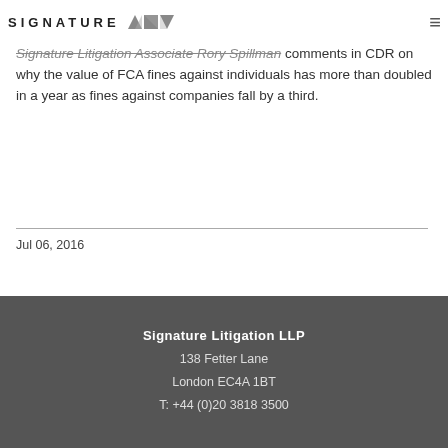SIGNATURE [logo icons] [hamburger menu]
Signature Litigation Associate Rory Spillman comments in CDR on why the value of FCA fines against individuals has more than doubled in a year as fines against companies fall by a third.
Jul 06, 2016
Signature Litigation LLP
138 Fetter Lane
London EC4A 1BT
T: +44 (0)20 3818 3500